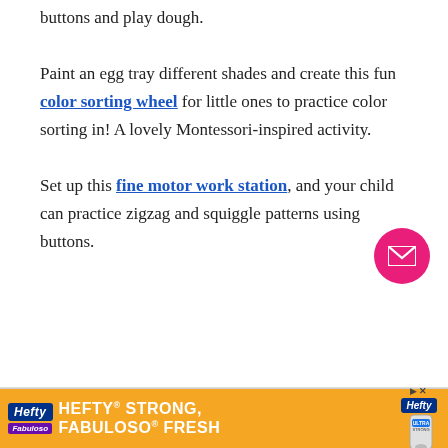buttons and play dough.
Paint an egg tray different shades and create this fun color sorting wheel for little ones to practice color sorting in! A lovely Montessori-inspired activity.
Set up this fine motor work station, and your child can practice zigzag and squiggle patterns using buttons.
[Figure (other): Pink circular email/contact button with white envelope icon]
[Figure (other): Advertisement banner for Hefty Strong, Fabuloso Fresh product]